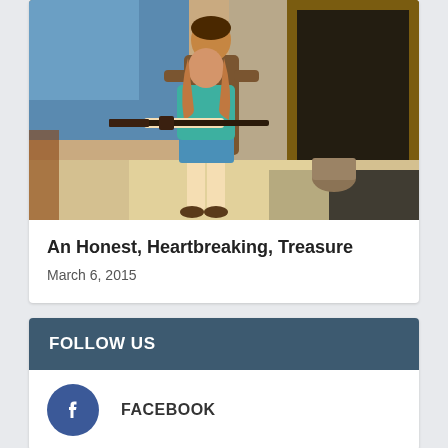[Figure (photo): Theater scene showing two actors on stage — a person in a teal shirt and blue shorts holding a rifle, being guided by another person in a brown jacket, with a rustic wooden set background including a doorframe and dark interior]
An Honest, Heartbreaking, Treasure
March 6, 2015
FOLLOW US
FACEBOOK